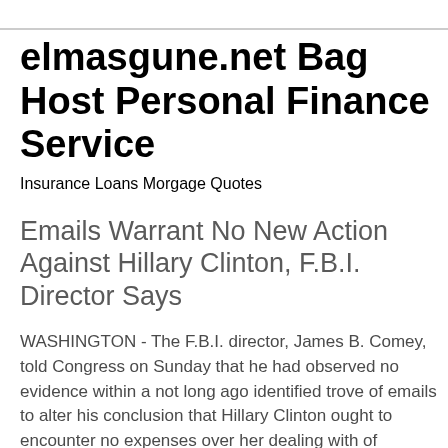elmasgune.net Bag Host Personal Finance Service
Insurance Loans Morgage Quotes
Emails Warrant No New Action Against Hillary Clinton, F.B.I. Director Says
WASHINGTON - The F.B.I. director, James B. Comey, told Congress on Sunday that he had observed no evidence within a not long ago identified trove of emails to alter his conclusion that Hillary Clinton ought to encounter no expenses over her dealing with of classified data.
Mr. Comey's announcement, just two days just before the election, was an work to clear the cloud of suspicion he had publicly placed above her presidential campaign late final